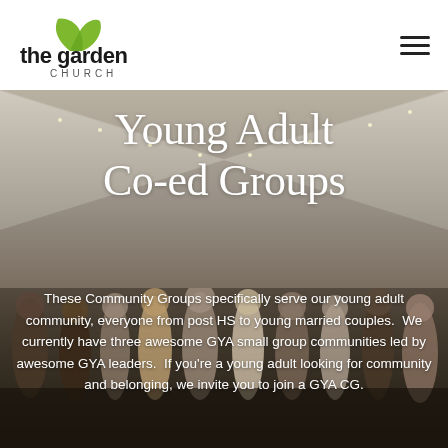[Figure (logo): The Garden Church logo with green leaf and lowercase text]
[Figure (photo): Group of young adults standing together under a tent canopy outdoors]
Young Adult Co-ed Groups
These Community Groups specifically serve our young adult community, everyone from post HS to young married couples.  We currently have three awesome GYA small group communities led by awesome GYA leaders.  If you're a young adult looking for community and belonging, we invite you to join a GYA CG.